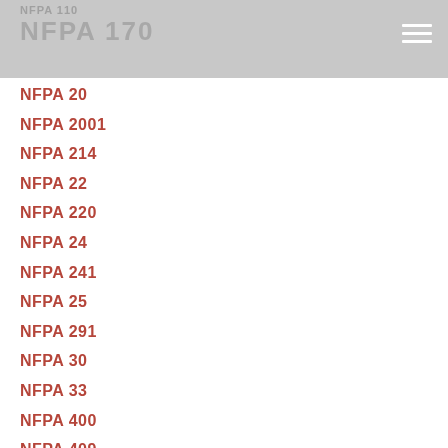NFPA 170
NFPA 20
NFPA 2001
NFPA 214
NFPA 22
NFPA 220
NFPA 24
NFPA 241
NFPA 25
NFPA 291
NFPA 30
NFPA 33
NFPA 400
NFPA 409
NFPA 415
NFPA 497
NFPA 5000
NFPA 502